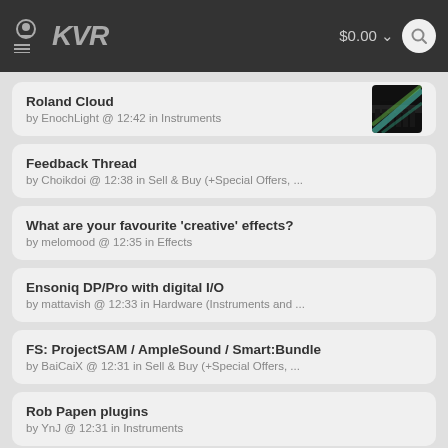KVR $0.00
Roland Cloud by EnochLight @ 12:42 in Instruments
Feedback Thread by Choikdoi @ 12:38 in Sell & Buy (+Special Offers, ...
What are your favourite 'creative' effects? by melomood @ 12:35 in Effects
Ensoniq DP/Pro with digital I/O by mattavish @ 12:33 in Hardware (Instruments and ...
FS: ProjectSAM / AmpleSound / Smart:Bundle by BaiCaiX @ 12:31 in Sell & Buy (+Special Offers, ...
Rob Papen plugins by YnJ @ 12:31 in Instruments